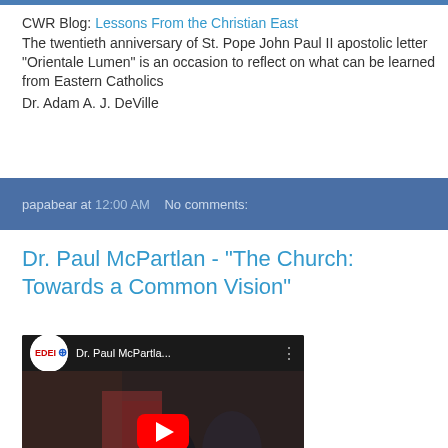CWR Blog: Lessons From the Christian East
The twentieth anniversary of St. Pope John Paul II apostolic letter "Orientale Lumen" is an occasion to reflect on what can be learned from Eastern Catholics
Dr. Adam A. J. DeVille
papabear at 12:00 AM   No comments:
Dr. Paul McPartlan - "The Church: Towards a Common Vision"
[Figure (screenshot): YouTube video thumbnail showing Dr. Paul McPartla... with EDEI channel logo, play button overlay, and people visible in background]